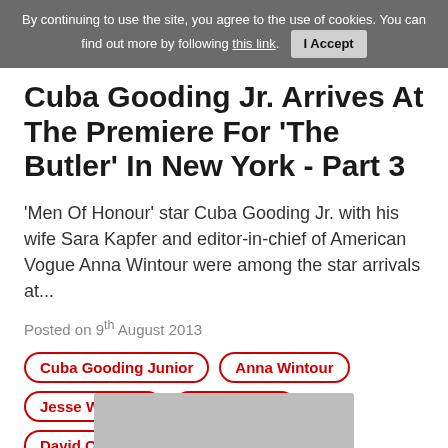By continuing to use the site, you agree to the use of cookies. You can find out more by following this link. I Accept
Cuba Gooding Jr. Arrives At The Premiere For 'The Butler' In New York - Part 3
'Men Of Honour' star Cuba Gooding Jr. with his wife Sara Kapfer and editor-in-chief of American Vogue Anna Wintour were among the star arrivals at...
Posted on 9th August 2013
Cuba Gooding Junior
Anna Wintour
Jesse Williams
Nancy O'Dell
David Oyelowo
Andre Leon Talley
[Figure (photo): Bottom partial photo strip of a person]